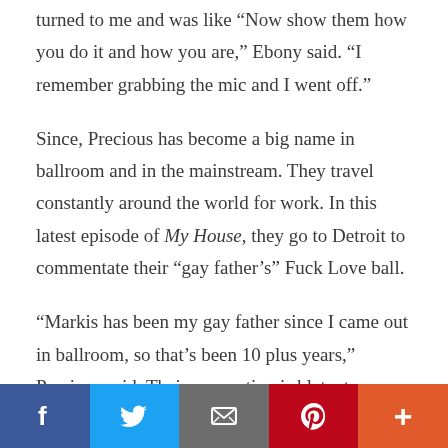turned to me and was like 'Now show them how you do it and how you are,' Ebony said. 'I remember grabbing the mic and I went off.'
Since, Precious has become a big name in ballroom and in the mainstream. They travel constantly around the world for work. In this latest episode of My House, they go to Detroit to commentate their “gay father’s” Fuck Love ball.
“Markis has been my gay father since I came out in ballroom, so that’s been 10 plus years,” Precious said. Their connection is blatant on screen in the
[Figure (infographic): Social sharing bar with five buttons: Facebook (blue), Twitter (light blue), Email/envelope (gray), Pinterest (red), and More/plus (orange-red)]